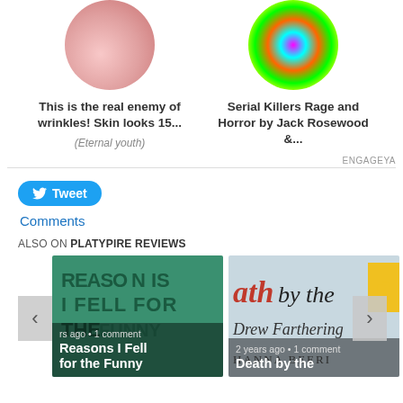[Figure (photo): Circular thumbnail image of skin/nails with pink design - article about wrinkles]
This is the real enemy of wrinkles! Skin looks 15...
(Eternal youth)
[Figure (photo): Circular thumbnail of colorful psychedelic image - serial killers book cover]
Serial Killers Rage and Horror by Jack Rosewood &...
ENGAGEYA
[Figure (logo): Twitter bird icon on Tweet button]
Tweet
Comments
ALSO ON PLATYPIRE REVIEWS
[Figure (photo): Book cover with text REASONS I FELL FOR THE FUNNY - green background]
rs ago • 1 comment
Reasons I Fell for the Funny
[Figure (photo): Book cover showing ath by the Bo - Drew Farthering - Death by the Book]
2 years ago • 1 comment
Death by the